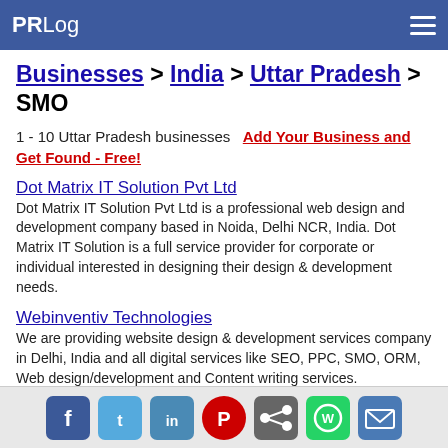PRLog
Businesses > India > Uttar Pradesh > SMO
1 - 10 Uttar Pradesh businesses  Add Your Business and Get Found - Free!
Dot Matrix IT Solution Pvt Ltd
Dot Matrix IT Solution Pvt Ltd is a professional web design and development company based in Noida, Delhi NCR, India. Dot Matrix IT Solution is a full service provider for corporate or individual interested in designing their design & development needs.
Webinventiv Technologies
We are providing website design & development services company in Delhi, India and all digital services like SEO, PPC, SMO, ORM, Web design/development and Content writing services.
Ranks Digital Media
Social share icons: Facebook, Twitter, LinkedIn, Pinterest, Share, WhatsApp, Email